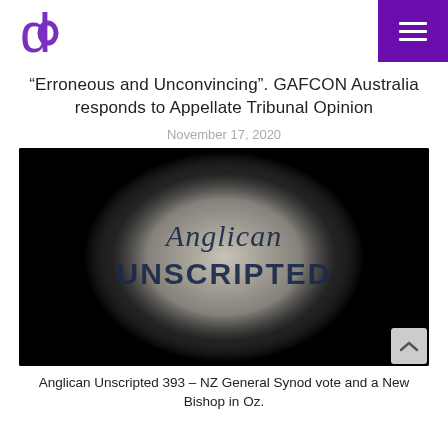d logo and menu button
“Erroneous and Unconvincing”. GAFCON Australia responds to Appellate Tribunal Opinion
November 17, 2020
[Figure (photo): Video thumbnail showing 'Anglican UNSCRIPTED' text in a spotlight circle on a dark background]
Anglican Unscripted 393 – NZ General Synod vote and a New Bishop in Oz.